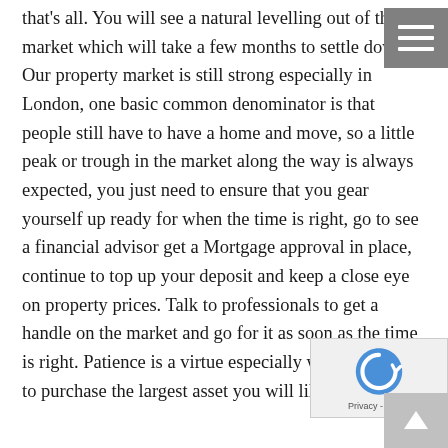that's all. You will see a natural levelling out of the market which will take a few months to settle down. Our property market is still strong especially in London, one basic common denominator is that people still have to have a home and move, so a little peak or trough in the market along the way is always expected, you just need to ensure that you gear yourself up ready for when the time is right, go to see a financial advisor get a Mortgage approval in place, continue to top up your deposit and keep a close eye on property prices. Talk to professionals to get a handle on the market and go for it as soon as the time is right. Patience is a virtue especially when are about to purchase the largest asset you will likely ever own!